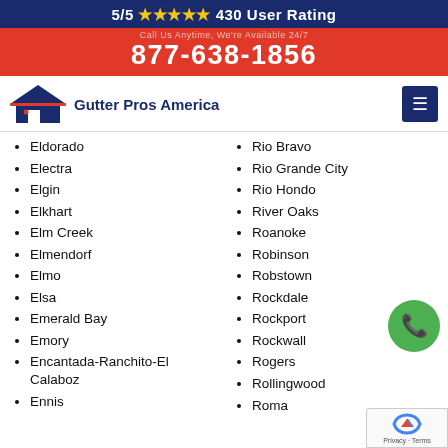5/5 ★★★★★ 430 User Rating
877-638-1856
[Figure (logo): Gutter Pros America logo with house roof icon in navy blue and red, text reads Gutter Pros America]
Eldorado
Electra
Elgin
Elkhart
Elm Creek
Elmendorf
Elmo
Elsa
Emerald Bay
Emory
Encantada-Ranchito-El Calaboz
Ennis
Rio Bravo
Rio Grande City
Rio Hondo
River Oaks
Roanoke
Robinson
Robstown
Rockdale
Rockport
Rockwall
Rogers
Rollingwood
Roma